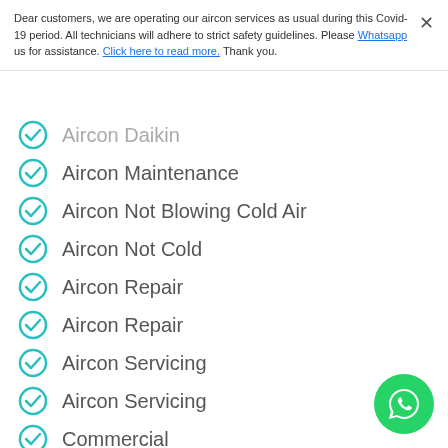Dear customers, we are operating our aircon services as usual during this Covid-19 period. All technicians will adhere to strict safety guidelines. Please Whatsapp us for assistance. Click here to read more. Thank you.
Aircon Maintenance
Aircon Not Blowing Cold Air
Aircon Not Cold
Aircon Repair
Aircon Repair
Aircon Servicing
Aircon Servicing
Commercial
Commercial
Daikin Aircon
Maintenance
Mitsubishi Aircon
Panasonic Aircon
Projects